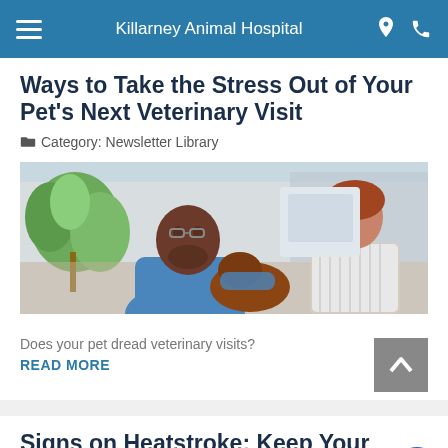Killarney Animal Hospital
Ways to Take the Stress Out of Your Pet's Next Veterinary Visit
Category: Newsletter Library
[Figure (photo): A veterinarian in blue scrubs speaking with a female pet owner in a clinic setting, with a dog visible between them and a large green plant in the background.]
Does your pet dread veterinary visits?
READ MORE
Signs on Heatstroke: Keep Your Pets Safe This Summer